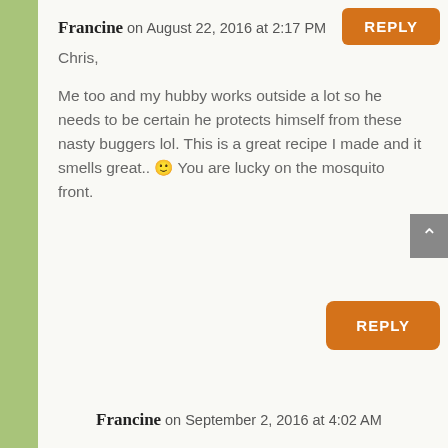REPLY
Francine on August 22, 2016 at 2:17 PM
Chris,
Me too and my hubby works outside a lot so he needs to be certain he protects himself from these nasty buggers lol. This is a great recipe I made and it smells great.. 🙂 You are lucky on the mosquito front.
REPLY
Francine on September 2, 2016 at 4:02 AM